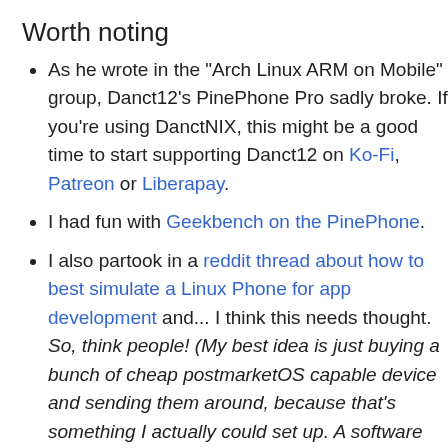Worth noting
As he wrote in the "Arch Linux ARM on Mobile" group, Danct12's PinePhone Pro sadly broke. If you're using DanctNIX, this might be a good time to start supporting Danct12 on Ko-Fi, Patreon or Liberapay.
I had fun with Geekbench on the PinePhone.
I also partook in a reddit thread about how to best simulate a Linux Phone for app development and... I think this needs thought. So, think people! (My best idea is just buying a bunch of cheap postmarketOS capable device and sending them around, because that's something I actually could set up. A software solution should scale much better, though!)
If you are busy/lazy like me, testing NixOS on the PinePhone just got a lot easier!
Worth reading